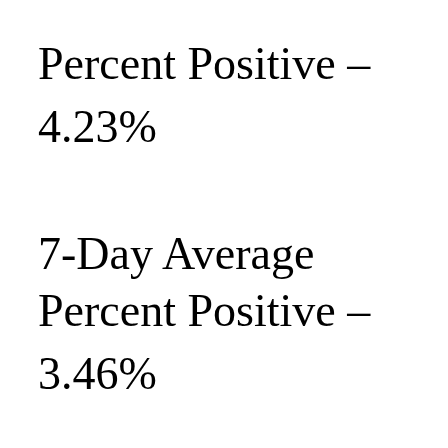Percent Positive – 4.23%
7-Day Average Percent Positive – 3.46%